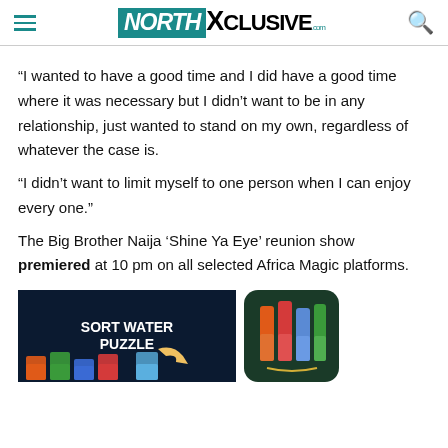NORTHXclusive.com
“I wanted to have a good time and I did have a good time where it was necessary but I didn’t want to be in any relationship, just wanted to stand on my own, regardless of whatever the case is.
“I didn’t want to limit myself to one person when I can enjoy every one.”
The Big Brother Naija ‘Shine Ya Eye’ reunion show premiered at 10 pm on all selected Africa Magic platforms.
[Figure (photo): Advertisement banner for Sort Water Puzzle game showing water bottle sorting puzzle app]
[Figure (logo): App icon for a colorful water bottle sorting game on dark green background]